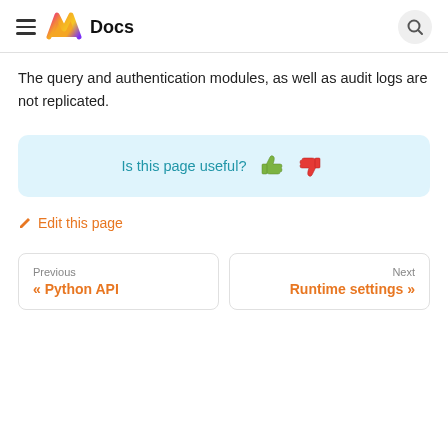Docs
The query and authentication modules, as well as audit logs are not replicated.
Is this page useful? 👍 👎
✏ Edit this page
Previous « Python API
Next Runtime settings »